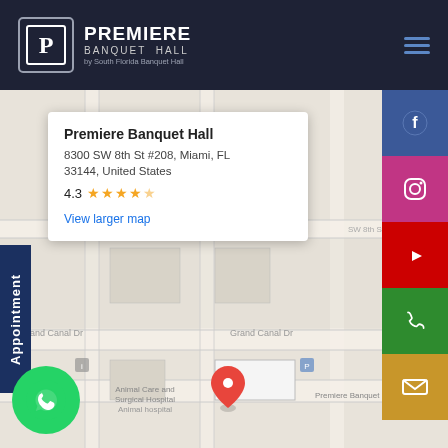[Figure (logo): Premiere Banquet Hall logo with stylized P in a box, white text on dark navy background]
[Figure (map): Google Maps embed showing Premiere Banquet Hall at 8300 SW 8th St #208, Miami, FL 33144 with info popup showing 4.3 star rating and View larger map link. Social media sidebar with Facebook, Instagram, YouTube, Phone, Email buttons. WhatsApp floating button. Appointment vertical tab on left.]
Premiere Banquet Hall
8300 SW 8th St #208, Miami, FL 33144, United States
4.3 ★★★★★
View larger map